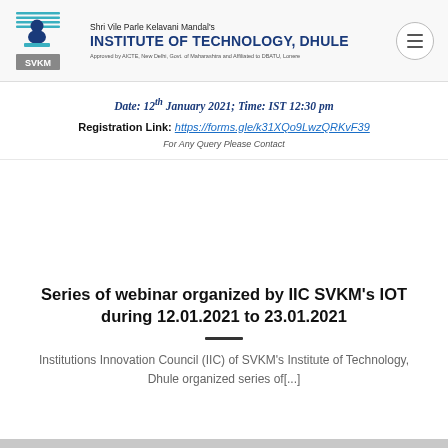Shri Vile Parle Kelavani Mandal's INSTITUTE OF TECHNOLOGY, DHULE — Approved by AICTE, New Delhi, Govt. of Maharashtra and Affiliated to DBATU, Lonere
Date: 12th January 2021; Time: IST 12:30 pm
Registration Link: https://forms.gle/k31XQo9LwzQRKvF39
For Any Query Please Contact
Series of webinar organized by IIC SVKM's IOT during 12.01.2021 to 23.01.2021
Institutions Innovation Council (IIC) of SVKM's Institute of Technology, Dhule organized series of[...]